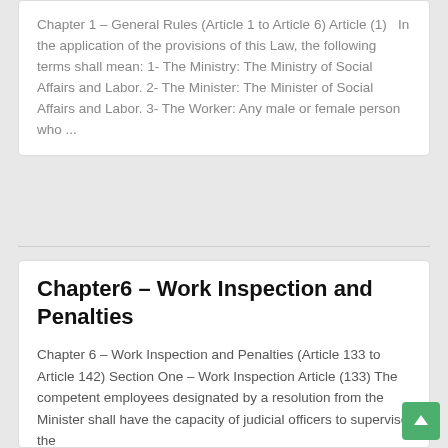Chapter 1 – General Rules (Article 1 to Article 6) Article (1)   In the application of the provisions of this Law, the following terms shall mean: 1- The Ministry: The Ministry of Social Affairs and Labor. 2- The Minister: The Minister of Social Affairs and Labor. 3- The Worker: Any male or female person who ...
Chapter6 – Work Inspection and Penalties
Chapter 6 – Work Inspection and Penalties (Article 133 to Article 142) Section One – Work Inspection Article (133) The competent employees designated by a resolution from the Minister shall have the capacity of judicial officers to supervise the